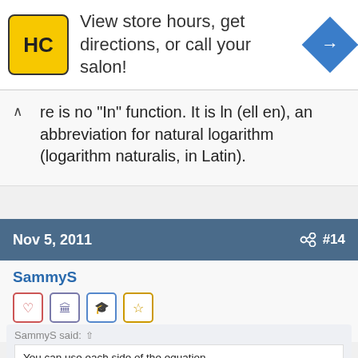[Figure (other): Advertisement banner for a salon/store locator service featuring HC logo (yellow/black), text 'View store hours, get directions, or call your salon!', and a blue navigation diamond icon]
re is no "In" function. It is ln (ell en), an abbreviation for natural logarithm (logarithm naturalis, in Latin).
Nov 5, 2011   #14
SammyS
SammyS said: ↑
You can use each side of the equation,
    ln(x+1)-1 = ln(x-1)